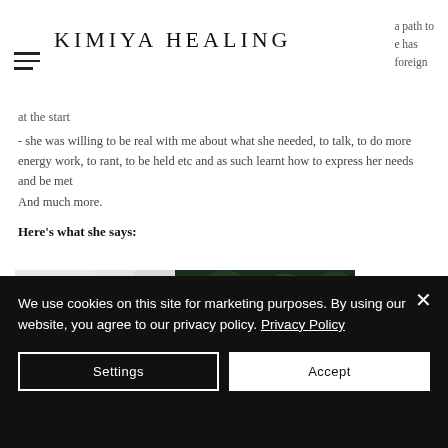KIMIYA HEALING
a path to e has foreign
at the start
- she was willing to be real with me about what she needed, to talk, to do more energy work, to rant, to be held etc and as such learnt how to express her needs and be met
And much more.
Here's what she says:
[Figure (photo): Photo of green foliage/leaves through a window with light coming through]
We use cookies on this site for marketing purposes. By using our website, you agree to our privacy policy. Privacy Policy
Settings
Accept